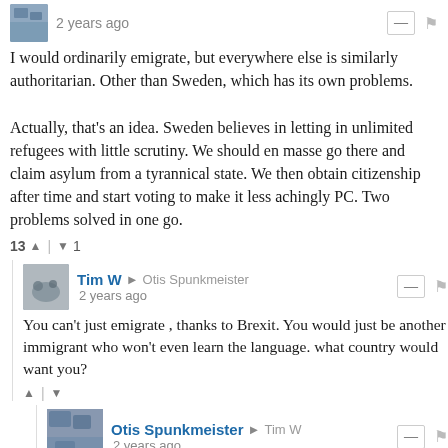I would ordinarily emigrate, but everywhere else is similarly authoritarian. Other than Sweden, which has its own problems.

Actually, that's an idea. Sweden believes in letting in unlimited refugees with little scrutiny. We should en masse go there and claim asylum from a tyrannical state. We then obtain citizenship after time and start voting to make it less achingly PC. Two problems solved in one go.
13 ▲ | ▼ 1
Tim W → Otis Spunkmeister
2 years ago
You can't just emigrate , thanks to Brexit. You would just be another immigrant who won't even learn the language. what country would want you?
▲ | ▼
Otis Spunkmeister → Tim W
2 years ago
Of course, because all Brexiteers are Norf FC memes come to life. You don't know anything about my linguistic skills